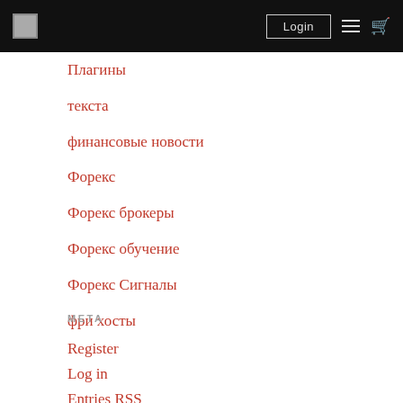Login
Плагины
текста
финансовые новости
Форекс
Форекс брокеры
Форекс обучение
Форекс Сигналы
фри хосты
META
Register
Log in
Entries RSS